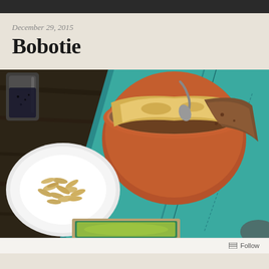December 29, 2015
Bobotie
[Figure (photo): Overhead food photography showing a South African Bobotie dish in a terracotta bowl with egg custard topping and spiced ground meat filling, served on a teal/turquoise folded cloth napkin on a dark wood surface. A white plate with sliced almonds is to the left, and a small baking dish with more bobotie is visible at the bottom. A dark glass is in the upper left corner.]
Follow